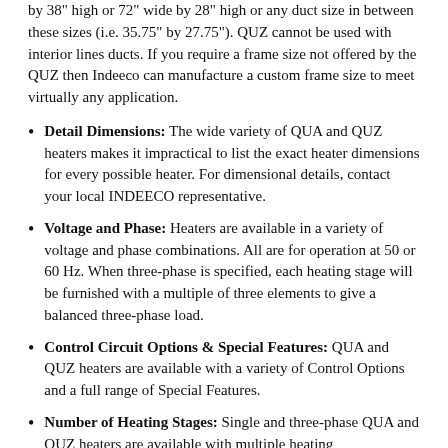by 38" high or 72" wide by 28" high or any duct size in between these sizes (i.e. 35.75" by 27.75"). QUZ cannot be used with interior lines ducts. If you require a frame size not offered by the QUZ then Indeeco can manufacture a custom frame size to meet virtually any application.
Detail Dimensions: The wide variety of QUA and QUZ heaters makes it impractical to list the exact heater dimensions for every possible heater. For dimensional details, contact your local INDEECO representative.
Voltage and Phase: Heaters are available in a variety of voltage and phase combinations. All are for operation at 50 or 60 Hz. When three-phase is specified, each heating stage will be furnished with a multiple of three elements to give a balanced three-phase load.
Control Circuit Options & Special Features: QUA and QUZ heaters are available with a variety of Control Options and a full range of Special Features.
Number of Heating Stages: Single and three-phase QUA and QUZ heaters are available with multiple heating stages.